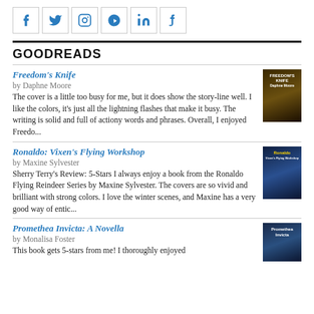[Figure (infographic): Row of 6 social media icon buttons: Facebook, Twitter, Instagram, Pinterest, LinkedIn, Tumblr]
GOODREADS
Freedom's Knife
by Daphne Moore
The cover is a little too busy for me, but it does show the story-line well. I like the colors, it's just all the lightning flashes that make it busy. The writing is solid and full of actiony words and phrases. Overall, I enjoyed Freedo...
Ronaldo: Vixen's Flying Workshop
by Maxine Sylvester
Sherry Terry's Review: 5-Stars I always enjoy a book from the Ronaldo Flying Reindeer Series by Maxine Sylvester. The covers are so vivid and brilliant with strong colors. I love the winter scenes, and Maxine has a very good way of entic...
Promethea Invicta: A Novella
by Monalisa Foster
This book gets 5-stars from me! I thoroughly enjoyed